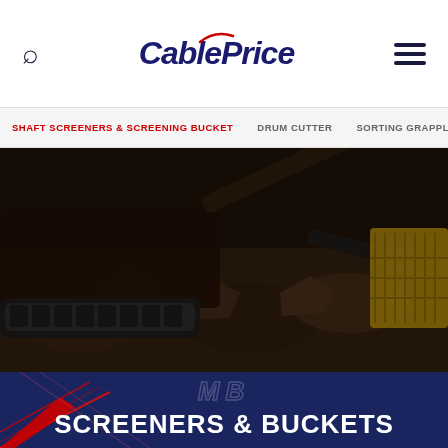[Figure (logo): CablePrice company logo with italic bold text and red accent mark]
CablePrice
SHAFT SCREENERS & SCREENING BUCKET   DRUM CUTTER   SORTING GRAPPLES   CRU...
[Figure (photo): Dark photo of heavy construction/excavation equipment working in rocky soil at night, showing tracked excavator and screening bucket attachment]
MB SCREENERS & BUCKETS